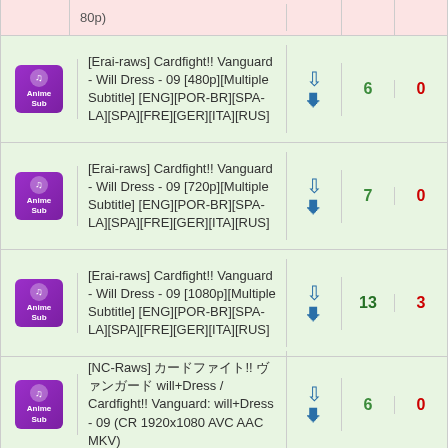| Thumbnail | Title | DL | Seeds | Leechers |
| --- | --- | --- | --- | --- |
| AnimeSub | 80p) |  |  |  |
| AnimeSub | [Erai-raws] Cardfight!! Vanguard - Will Dress - 09 [480p][Multiple Subtitle] [ENG][POR-BR][SPA-LA][SPA][FRE][GER][ITA][RUS] |  | 6 | 0 |
| AnimeSub | [Erai-raws] Cardfight!! Vanguard - Will Dress - 09 [720p][Multiple Subtitle] [ENG][POR-BR][SPA-LA][SPA][FRE][GER][ITA][RUS] |  | 7 | 0 |
| AnimeSub | [Erai-raws] Cardfight!! Vanguard - Will Dress - 09 [1080p][Multiple Subtitle] [ENG][POR-BR][SPA-LA][SPA][FRE][GER][ITA][RUS] |  | 13 | 3 |
| AnimeSub | [NC-Raws] カードファイト!! ヴァンガード will+Dress / Cardfight!! Vanguard: will+Dress - 09 (CR 1920x1080 AVC AAC MKV) |  | 6 | 0 |